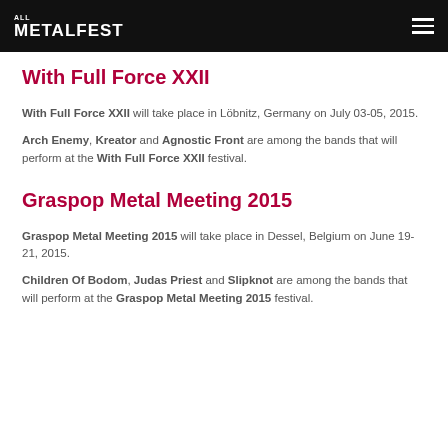METALFEST
With Full Force XXII
With Full Force XXII will take place in Löbnitz, Germany on July 03-05, 2015.
Arch Enemy, Kreator and Agnostic Front are among the bands that will perform at the With Full Force XXII festival.
Graspop Metal Meeting 2015
Graspop Metal Meeting 2015 will take place in Dessel, Belgium on June 19-21, 2015.
Children Of Bodom, Judas Priest and Slipknot are among the bands that will perform at the Graspop Metal Meeting 2015 festival.